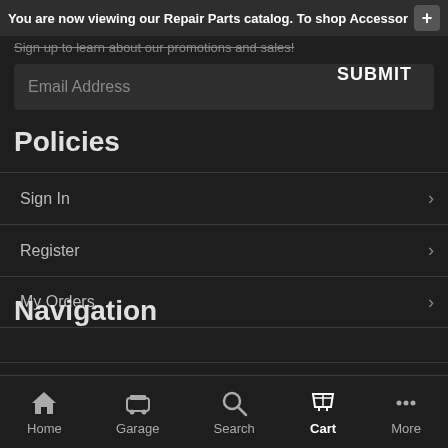You are now viewing our Repair Parts catalog. To shop Accessori +
Sign up to learn about our promotions and sales!
Email Address  SUBMIT
Policies
Sign In
Register
My Orders
Navigation
Terms & Conditions
Home  Garage  Search  Cart  More